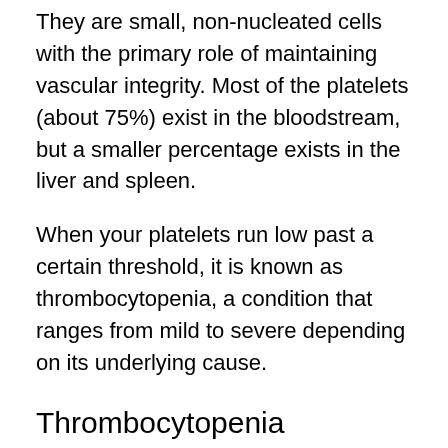They are small, non-nucleated cells with the primary role of maintaining vascular integrity. Most of the platelets (about 75%) exist in the bloodstream, but a smaller percentage exists in the liver and spleen.
When your platelets run low past a certain threshold, it is known as thrombocytopenia, a condition that ranges from mild to severe depending on its underlying cause.
Thrombocytopenia
Counts of anywhere between 150,000 are